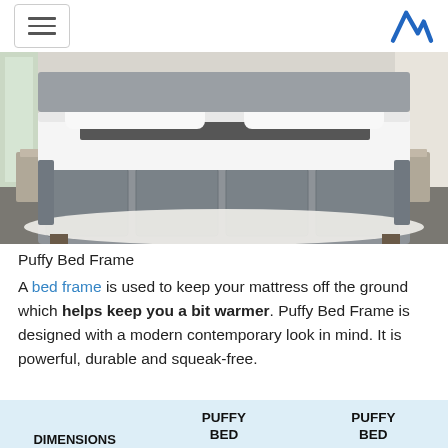[hamburger menu] [M logo]
[Figure (photo): Photo of a grey upholstered Puffy Bed Frame with white mattress and pillows in a modern bedroom setting with white shag rug]
Puffy Bed Frame
A bed frame is used to keep your mattress off the ground which helps keep you a bit warmer. Puffy Bed Frame is designed with a modern contemporary look in mind. It is powerful, durable and squeak-free.
| DIMENSIONS | PUFFY BED | PUFFY BED |
| --- | --- | --- |